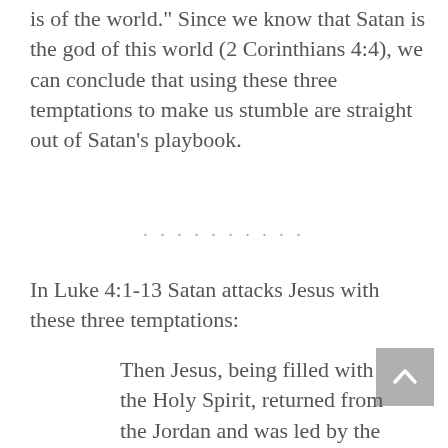is of the world." Since we know that Satan is the god of this world (2 Corinthians 4:4), we can conclude that using these three temptations to make us stumble are straight out of Satan's playbook.
. . . . . . . . . .
In Luke 4:1-13 Satan attacks Jesus with these three temptations:
Then Jesus, being filled with the Holy Spirit, returned from the Jordan and was led by the Spirit into the wilderness, (2)